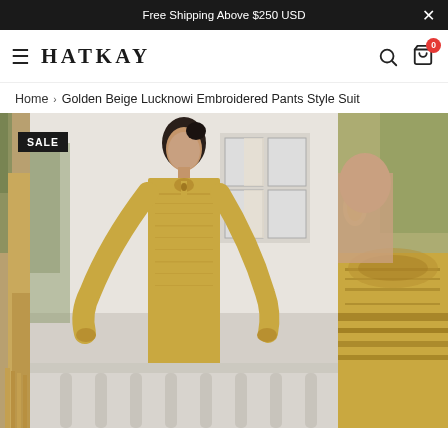Free Shipping Above $250 USD
HATKAY
Home › Golden Beige Lucknowi Embroidered Pants Style Suit
[Figure (photo): Three-panel product image of a Golden Beige Lucknowi Embroidered Pants Style Suit. Left panel shows partial view of model with golden draped fabric. Center panel shows full-length view of model wearing golden embroidered suit standing by white balustrade. Right panel shows close-up detail of embroidered shoulder/dupatta. A SALE badge appears on the left panel.]